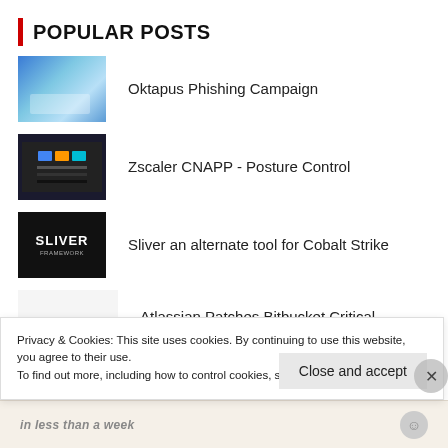POPULAR POSTS
Oktapus Phishing Campaign
Zscaler CNAPP - Posture Control
Sliver an alternate tool for Cobalt Strike
Atlassian Patches Bitbucket Critical Vulnerability
Privacy & Cookies: This site uses cookies. By continuing to use this website, you agree to their use.
To find out more, including how to control cookies, see here: Cookie Policy
Close and accept
in less than a week